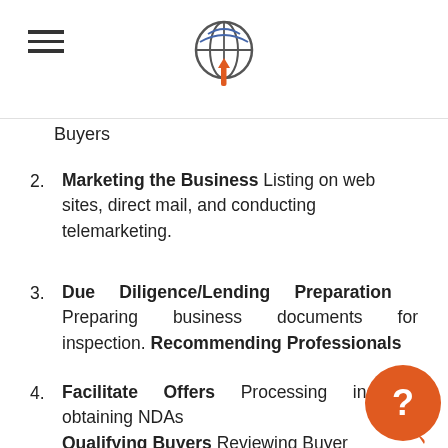[hamburger menu icon] [logo icon]
Buyers
2. Marketing the Business Listing on web sites, direct mail, and conducting telemarketing.
3. Due Diligence/Lending Preparation Preparing business documents for inspection. Recommending Professionals
4. Facilitate Offers Processing inquiries obtaining NDAs Qualifying Buyers Reviewing Buyer